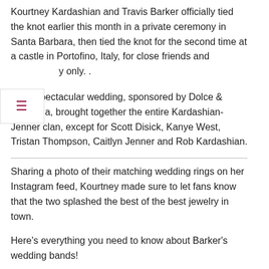Kourtney Kardashian and Travis Barker officially tied the knot earlier this month in a private ceremony in Santa Barbara, then tied the knot for the second time at a castle in Portofino, Italy, for close friends and family only. .
Their spectacular wedding, sponsored by Dolce & Gabbana, brought together the entire Kardashian-Jenner clan, except for Scott Disick, Kanye West, Tristan Thompson, Caitlyn Jenner and Rob Kardashian.
Sharing a photo of their matching wedding rings on her Instagram feed, Kourtney made sure to let fans know that the two splashed the best of the best jewelry in town.
Here's everything you need to know about Barker's wedding bands!
Who designed the rings?
According to reports...